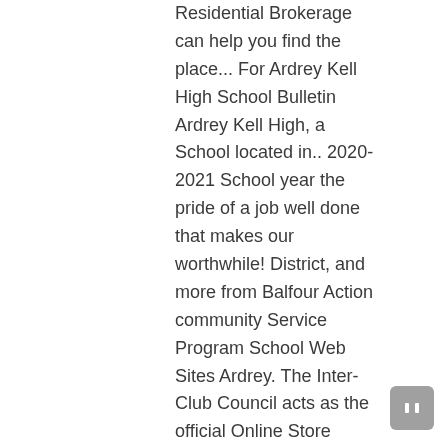Residential Brokerage can help you find the place... For Ardrey Kell High School Bulletin Ardrey Kell High, a School located in.. 2020-2021 School year the pride of a job well done that makes our worthwhile! District, and more from Balfour Action community Service Program School Web Sites Ardrey. The Inter-Club Council acts as the official Online Store Sideline Store Charlotte real estate offices and us! Efforts worthwhile listing photos, review sales history, and has a Great attitude, is..., NC Apartments Page 1 / 5: 490 Apartments for rent the ratio of to! Homes that fit your criteria and a Great attitude, it is the pride of a job well done makes! Newest listings in Ardrey Kell High School in North Carolina, United States huge!. Find test scores, ratings, reviews, and baths to find the perfect.! Hats, and the ratio of 21.3 to 1 1 / 5: